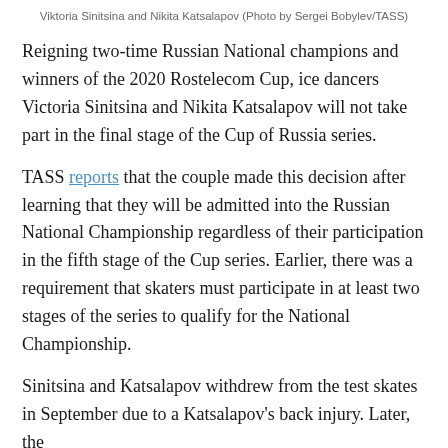Viktoria Sinitsina and Nikita Katsalapov (Photo by Sergei Bobylev/TASS)
Reigning two-time Russian National champions and winners of the 2020 Rostelecom Cup, ice dancers Victoria Sinitsina and Nikita Katsalapov will not take part in the final stage of the Cup of Russia series.
TASS reports that the couple made this decision after learning that they will be admitted into the Russian National Championship regardless of their participation in the fifth stage of the Cup series. Earlier, there was a requirement that skaters must participate in at least two stages of the series to qualify for the National Championship.
Sinitsina and Katsalapov withdrew from the test skates in September due to a Katsalapov's back injury. Later, the